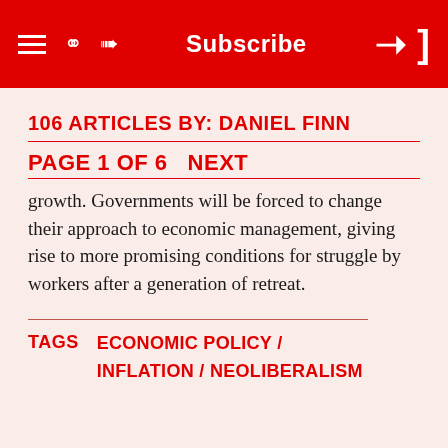Subscribe
106 ARTICLES BY: DANIEL FINN
PAGE 1 OF 6    NEXT
growth. Governments will be forced to change their approach to economic management, giving rise to more promising conditions for struggle by workers after a generation of retreat.
TAGS   ECONOMIC POLICY / INFLATION / NEOLIBERALISM